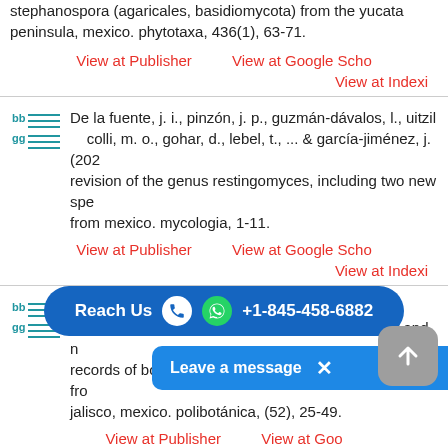stephanospora (agaricales, basidiomycota) from the yucatan peninsula, mexico. phytotaxa, 436(1), 63-71.
View at Publisher    View at Google Scholar
View at Indexing
De la fuente, j. i., pinzón, j. p., guzmán-dávalos, l., uitzil colli, m. o., gohar, d., lebel, t., ... & garcía-jiménez, j. (202...) revision of the genus restingomyces, including two new species from mexico. mycologia, 1-11.
View at Publisher    View at Google Scholar
View at Indexing
Saldivar, á. e., garcía-jiménez, j., herrera-fonseca, m. j., rodríguez alcántar, o. (2021). updated checklist and new records of boletaceae (fungi, basidiomycota, boletales) from jalisco, mexico. polibotánica, (52), 25-49.
View at Publisher    View at Google Scholar
View at Indexing